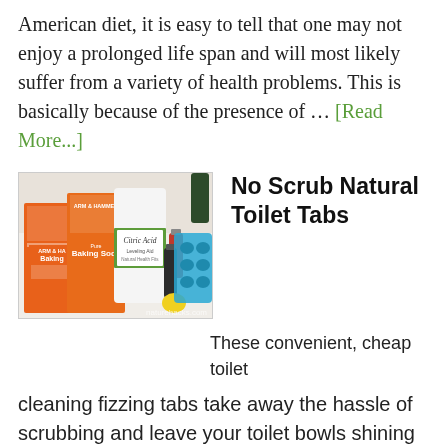American diet, it is easy to tell that one may not enjoy a prolonged life span and will most likely suffer from a variety of health problems. This is basically because of the presence of … [Read More...]
[Figure (photo): Photo of baking soda boxes (Arm & Hammer brand), a jar of Citric Acid, small bottles of liquid, and a blue silicone mold on a white surface. Watermark: naturehacks.com]
No Scrub Natural Toilet Tabs
These convenient, cheap toilet cleaning fizzing tabs take away the hassle of scrubbing and leave your toilet bowls shining and smelling fresh. While these won't necessarily remove